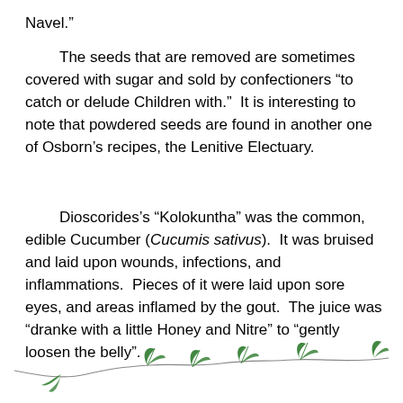Navel.”
The seeds that are removed are sometimes covered with sugar and sold by confectioners “to catch or delude Children with.”  It is interesting to note that powdered seeds are found in another one of Osborn’s recipes, the Lenitive Electuary.
Dioscorides’s “Kolokuntha” was the common, edible Cucumber (Cucumis sativus).  It was bruised and laid upon wounds, infections, and inflammations.  Pieces of it were laid upon sore eyes, and areas inflamed by the gout.  The juice was “dranke with a little Honey and Nitre” to “gently loosen the belly”.
[Figure (illustration): Decorative vine/branch illustration with small green leaves, drawn in a loose handdrawn style, spanning the width of the page near the bottom.]